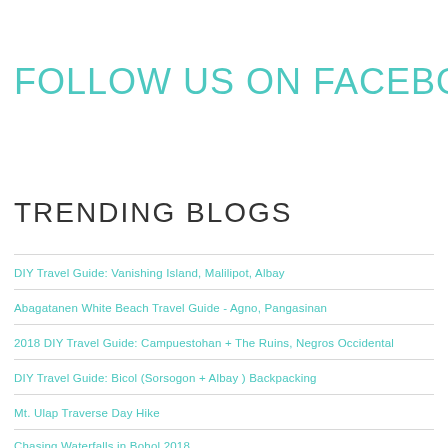FOLLOW US ON FACEBOOK!
TRENDING BLOGS
DIY Travel Guide: Vanishing Island, Malilipot, Albay
Abagatanen White Beach Travel Guide - Agno, Pangasinan
2018 DIY Travel Guide: Campuestohan + The Ruins, Negros Occidental
DIY Travel Guide: Bicol (Sorsogon + Albay ) Backpacking
Mt. Ulap Traverse Day Hike
Chasing Waterfalls in Bohol 2018